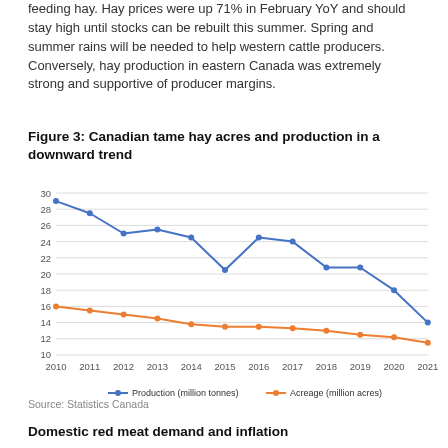feeding hay. Hay prices were up 71% in February YoY and should stay high until stocks can be rebuilt this summer. Spring and summer rains will be needed to help western cattle producers. Conversely, hay production in eastern Canada was extremely strong and supportive of producer margins.
Figure 3: Canadian tame hay acres and production in a downward trend
[Figure (line-chart): Figure 3: Canadian tame hay acres and production in a downward trend]
Source: Statistics Canada
Domestic red meat demand and inflation